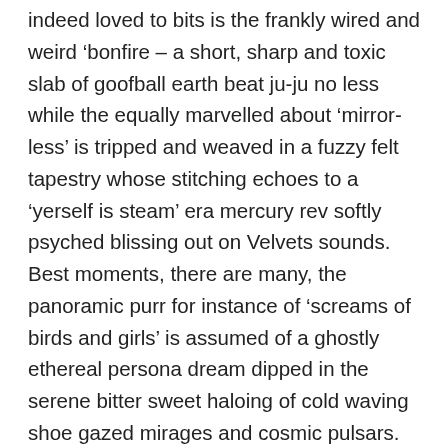indeed loved to bits is the frankly wired and weird 'bonfire – a short, sharp and toxic slab of goofball earth beat ju-ju no less while the equally marvelled about 'mirror-less' is tripped and weaved in a fuzzy felt tapestry whose stitching echoes to a 'yerself is steam' era mercury rev softly psyched blissing out on Velvets sounds. Best moments, there are many, the panoramic purr for instance of 'screams of birds and girls' is assumed of a ghostly ethereal persona dream dipped in the serene bitter sweet haloing of cold waving shoe gazed mirages and cosmic pulsars. Somewhere else there's the festering schizoid mutant groove of 'American Sphinx face' in essence your bonged mantra gorgeously hazed with a 'goo' era Sonic Youth being refracted through the shit faced sonic view finder of Bardo Pond, the affection lavished upon it only just eclipsed by the sets most realised moment – the crestfallen 'empire building', a stunningly frail and elegant